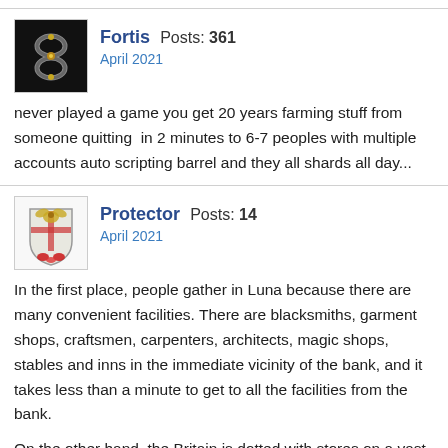Fortis  Posts: 361
April 2021
never played a game you get 20 years farming stuff from someone quitting  in 2 minutes to 6-7 peoples with multiple accounts auto scripting barrel and they all shards all day...
Protector  Posts: 14
April 2021
In the first place, people gather in Luna because there are many convenient facilities. There are blacksmiths, garment shops, craftsmen, carpenters, architects, magic shops, stables and inns in the immediate vicinity of the bank, and it takes less than a minute to get to all the facilities from the bank.
On the other hand, the Britain is dotted with stores on a vast site, and it takes time to move. The area around Britain Civic Square, just east of Brit Bank, is packed with convenient facilities, but it is not well known and no one is there.
If you want to revitalize the Brit Bank area, you need to integrate